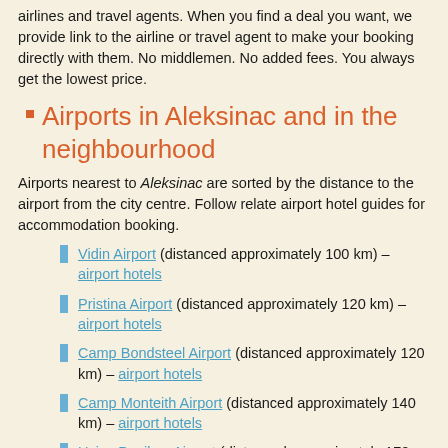airlines and travel agents. When you find a deal you want, we provide link to the airline or travel agent to make your booking directly with them. No middlemen. No added fees. You always get the lowest price.
Airports in Aleksinac and in the neighbourhood
Airports nearest to Aleksinac are sorted by the distance to the airport from the city centre. Follow relate airport hotel guides for accommodation booking.
Vidin Airport (distanced approximately 100 km) – airport hotels
Pristina Airport (distanced approximately 120 km) – airport hotels
Camp Bondsteel Airport (distanced approximately 120 km) – airport hotels
Camp Monteith Airport (distanced approximately 140 km) – airport hotels
Uzice Ponikve Airport (distanced approximately 170 km) – airport hotels